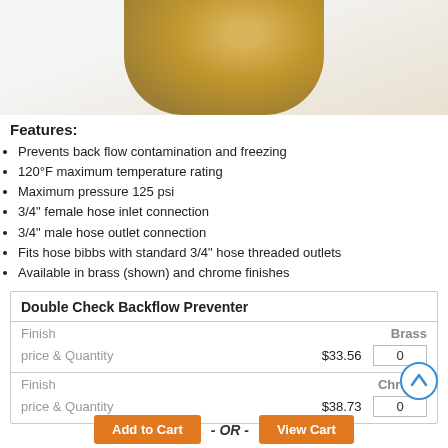[Figure (photo): Product photo of a brass Double Check Backflow Preventer fitting with gold-colored threaded connections on a white background]
Features:
Prevents back flow contamination and freezing
120°F maximum temperature rating
Maximum pressure 125 psi
3/4" female hose inlet connection
3/4" male hose outlet connection
Fits hose bibbs with standard 3/4" hose threaded outlets
Available in brass (shown) and chrome finishes
| Double Check Backflow Preventer |  |
| --- | --- |
| Finish | Brass |
| price & Quantity | $33.56  0 |
| Finish | Chrome |
| price & Quantity | $38.73  0 |